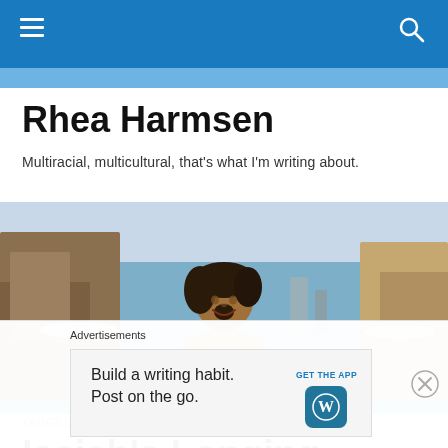Rhea Harmsen — site navigation header
Rhea Harmsen
Multiracial, multicultural, that's what I'm writing about.
[Figure (photo): Smiling woman with dark hair at a rocky beach with ocean waves in the background]
TAGGED WITH BAHA'I
Isaiah's Longing
Advertisements
Build a writing habit. Post on the go. GET THE APP [WordPress icon]